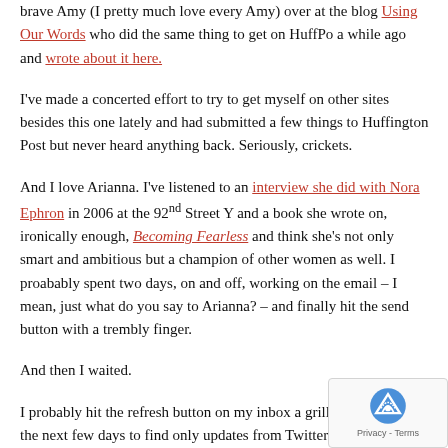brave Amy (I pretty much love every Amy) over at the blog Using Our Words who did the same thing to get on HuffPo a while ago and wrote about it here.
I've made a concerted effort to try to get myself on other sites besides this one lately and had submitted a few things to Huffington Post but never heard anything back. Seriously, crickets.
And I love Arianna. I've listened to an interview she did with Nora Ephron in 2006 at the 92nd Street Y and a book she wrote on, ironically enough, Becoming Fearless and think she's not only smart and ambitious but a champion of other women as well. I proabably spent two days, on and off, working on the email – I mean, just what do you say to Arianna? – and finally hit the send button with a trembly finger.
And then I waited.
I probably hit the refresh button on my inbox a grillion times over the next few days to find only updates from Twitter and American Express (PS AmEx: can you please stop writing to tell me how much I've spent since my last statement?).